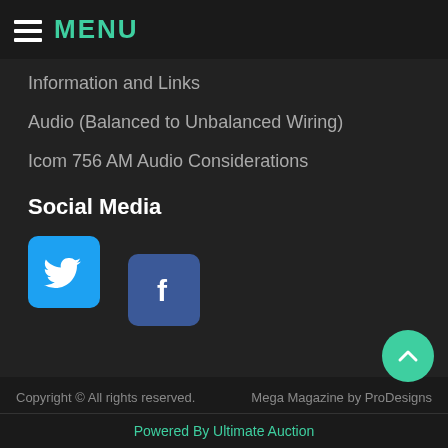MENU
Information and Links
Audio (Balanced to Unbalanced Wiring)
Icom 756 AM Audio Considerations
Social Media
[Figure (logo): Twitter bird logo icon on blue rounded square background]
[Figure (logo): Facebook 'f' logo icon on dark blue rounded square background]
Copyright © All rights reserved.   Mega Magazine by ProDesigns
Powered By Ultimate Auction